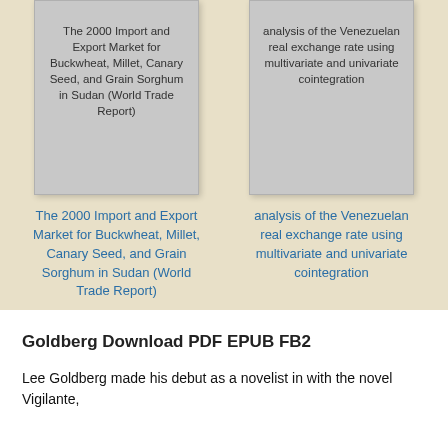[Figure (illustration): Book card showing title: The 2000 Import and Export Market for Buckwheat, Millet, Canary Seed, and Grain Sorghum in Sudan (World Trade Report)]
[Figure (illustration): Book card showing title: analysis of the Venezuelan real exchange rate using multivariate and univariate cointegration]
The 2000 Import and Export Market for Buckwheat, Millet, Canary Seed, and Grain Sorghum in Sudan (World Trade Report)
analysis of the Venezuelan real exchange rate using multivariate and univariate cointegration
Goldberg Download PDF EPUB FB2
Lee Goldberg made his debut as a novelist in with the novel Vigilante,